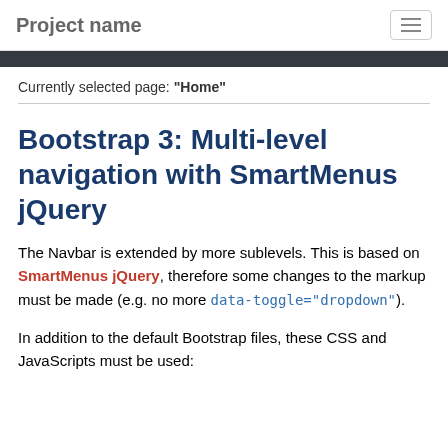Project name
Currently selected page: "Home"
Bootstrap 3: Multi-level navigation with SmartMenus jQuery
The Navbar is extended by more sublevels. This is based on SmartMenus jQuery, therefore some changes to the markup must be made (e.g. no more data-toggle="dropdown").
In addition to the default Bootstrap files, these CSS and JavaScripts must be used: